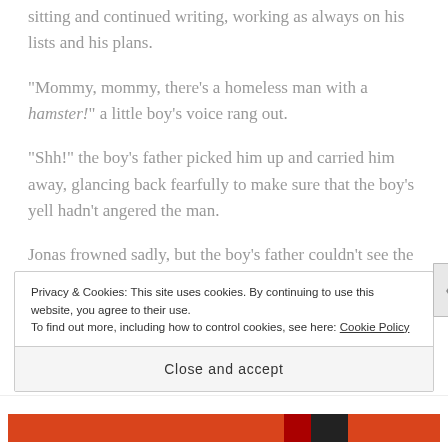sitting and continued writing, working as always on his lists and his plans.
“Mommy, mommy, there’s a homeless man with a hamster!” a little boy’s voice rang out.
“Shh!” the boy’s father picked him up and carried him away, glancing back fearfully to make sure that the boy’s yell hadn’t angered the man.
Jonas frowned sadly, but the boy’s father couldn’t see the expression through his wild, tangled beard.
Privacy & Cookies: This site uses cookies. By continuing to use this website, you agree to their use.
To find out more, including how to control cookies, see here: Cookie Policy
Close and accept